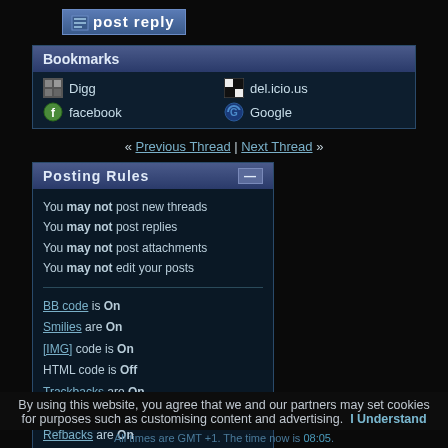[Figure (other): Post reply button with icon]
| Bookmarks |
| --- |
| Digg | del.icio.us |
| facebook | Google |
« Previous Thread | Next Thread »
Posting Rules
You may not post new threads
You may not post replies
You may not post attachments
You may not edit your posts
BB code is On
Smilies are On
[IMG] code is On
HTML code is Off
Trackbacks are On
Pingbacks are On
Refbacks are On
Forum Rules
By using this website, you agree that we and our partners may set cookies for purposes such as customising content and advertising. I Understand
All times are GMT +1. The time now is 08:05.